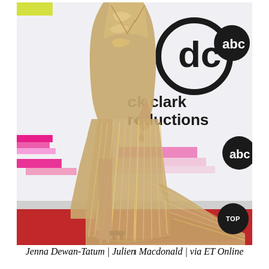[Figure (photo): A woman wearing a gold sequined/beaded gown with a thigh-high slit and a long train, standing on a red carpet in front of a white step-and-repeat banner featuring 'Dick Clark Productions' and ABC network logos. She is wearing gold strappy heeled sandals.]
Jenna Dewan-Tatum | Julien Macdonald | via ET Online